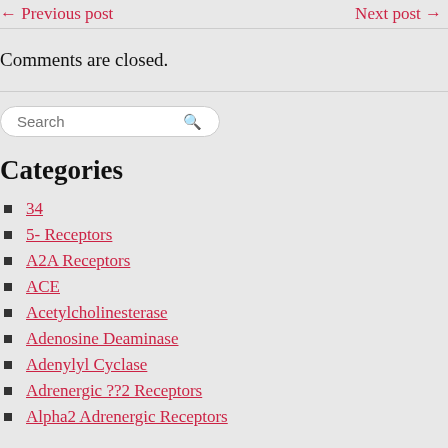← Previous post    Next post →
Comments are closed.
Search
Categories
34
5- Receptors
A2A Receptors
ACE
Acetylcholinesterase
Adenosine Deaminase
Adenylyl Cyclase
Adrenergic ??2 Receptors
Alpha2 Adrenergic Receptors